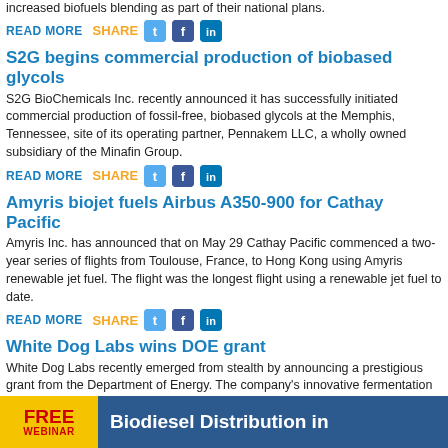increased biofuels blending as part of their national plans.
READ MORE   SHARE
S2G begins commercial production of biobased glycols
S2G BioChemicals Inc. recently announced it has successfully initiated commercial production of fossil-free, biobased glycols at the Memphis, Tennessee, site of its operating partner, Pennakem LLC, a wholly owned subsidiary of the Minafin Group.
READ MORE   SHARE
Amyris biojet fuels Airbus A350-900 for Cathay Pacific
Amyris Inc. has announced that on May 29 Cathay Pacific commenced a two-year series of flights from Toulouse, France, to Hong Kong using Amyris renewable jet fuel. The flight was the longest flight using a renewable jet fuel to date.
READ MORE   SHARE
White Dog Labs wins DOE grant
White Dog Labs recently emerged from stealth by announcing a prestigious grant from the Department of Energy. The company's innovative fermentation technology platform can increase output of practically any biochemical by 50-100 percent.
READ MORE   SHARE
[Figure (infographic): Advertisement banner: FREE WEBINAR - Biodiesel Distribution in (truncated)]